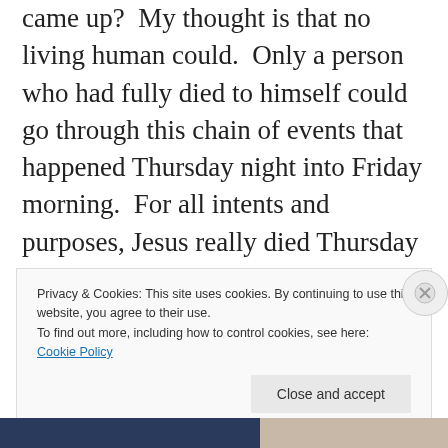came up?  My thought is that no living human could.  Only a person who had fully died to himself could go through this chain of events that happened Thursday night into Friday morning.  For all intents and purposes, Jesus really died Thursday night.  His power, His anointed preaching, His ability to call on His Father – all gone.  From that moment on, nothing could kill Him because he had already consigned himself to
Privacy & Cookies: This site uses cookies. By continuing to use this website, you agree to their use.
To find out more, including how to control cookies, see here: Cookie Policy
Close and accept